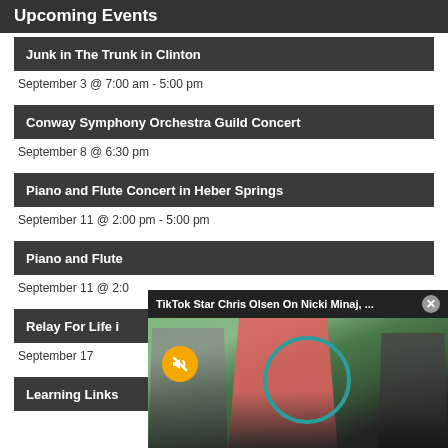Upcoming Events
Junk in The Trunk in Clinton
September 3 @ 7:00 am - 5:00 pm
Conway Symphony Orchestra Guild Concert
September 8 @ 6:30 pm
Piano and Flute Concert in Heber Springs
September 11 @ 2:00 pm - 5:00 pm
Piano and Flute
September 11 @ 2:0
Relay For Life i
September 17
Learning Links
[Figure (photo): Popup video overlay showing 'TikTok Star Chris Olsen On Nicki Minaj, ...' with a muted video of people at an outdoor event, a woman with short blonde hair in a red jacket is prominent, with a teal circle overlay.]